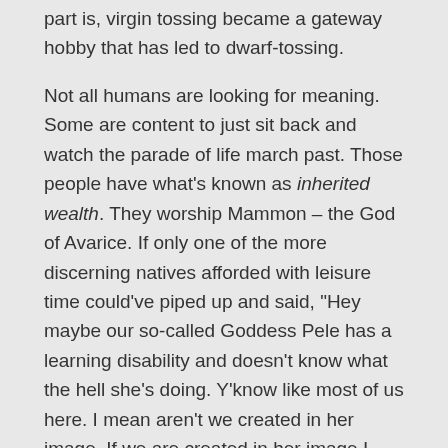part is, virgin tossing became a gateway hobby that has led to dwarf-tossing.
Not all humans are looking for meaning. Some are content to just sit back and watch the parade of life march past. Those people have what’s known as inherited wealth. They worship Mammon – the God of Avarice. If only one of the more discerning natives afforded with leisure time could’ve piped up and said, “Hey maybe our so-called Goddess Pele has a learning disability and doesn’t know what the hell she’s doing. Y’know like most of us here. I mean aren't we created in her image. If we are created in her image I can tell you one thing. Pele has a ganglion cyst the size of a door knob on her right wrist.”
Shade 6    Greek Mythology: As Psychedelic as Sgt. Pepper, But Without the Music